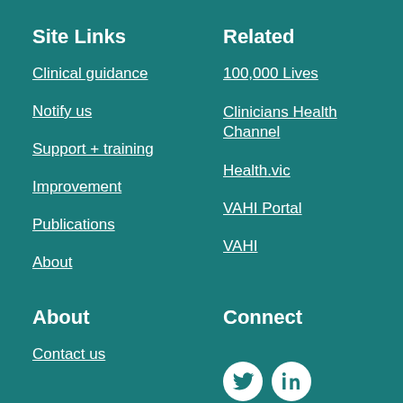Site Links
Clinical guidance
Notify us
Support + training
Improvement
Publications
About
Related
100,000 Lives
Clinicians Health Channel
Health.vic
VAHI Portal
VAHI
About
Contact us
Connect
[Figure (illustration): Twitter and LinkedIn social media icons as white circles with teal icons]